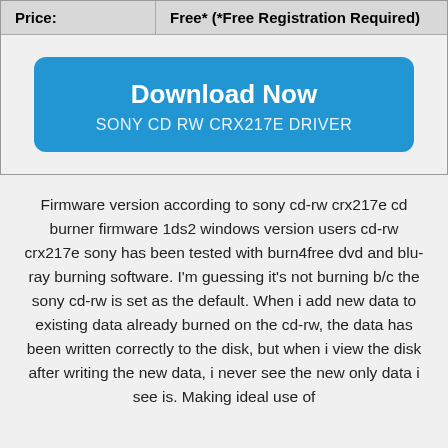| Price: | Free* (*Free Registration Required) |
| --- | --- |
[Figure (other): Blue rounded rectangle download button with text 'Download Now' and 'SONY CD RW CRX217E DRIVER']
Firmware version according to sony cd-rw crx217e cd burner firmware 1ds2 windows version users cd-rw crx217e sony has been tested with burn4free dvd and blu-ray burning software. I'm guessing it's not burning b/c the sony cd-rw is set as the default. When i add new data to existing data already burned on the cd-rw, the data has been written correctly to the disk, but when i view the disk after writing the new data, i never see the new only data i see is. Making ideal use of